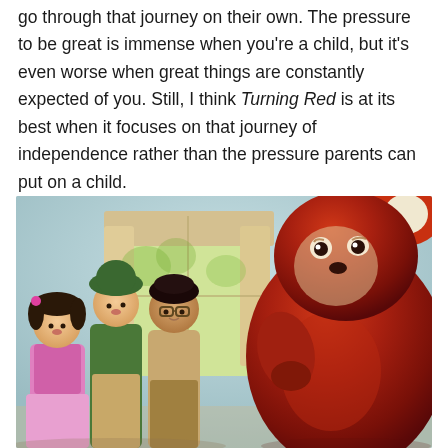go through that journey on their own. The pressure to be great is immense when you're a child, but it's even worse when great things are constantly expected of you. Still, I think Turning Red is at its best when it focuses on that journey of independence rather than the pressure parents can put on a child.
[Figure (photo): A scene from the animated film Turning Red showing three child characters looking up toward a large red panda standing to the right, in a room with a window and curtains in the background.]